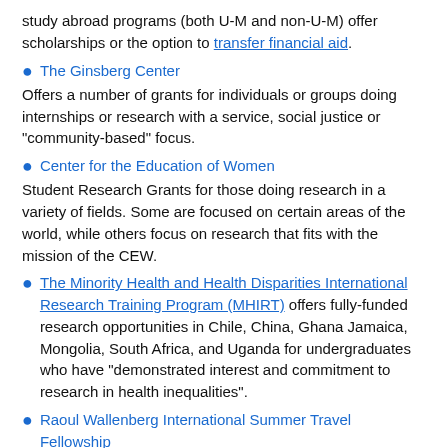study abroad programs (both U-M and non-U-M) offer scholarships or the option to transfer financial aid.
The Ginsberg Center
Offers a number of grants for individuals or groups doing internships or research with a service, social justice or "community-based" focus.
Center for the Education of Women
Student Research Grants for those doing research in a variety of fields. Some are focused on certain areas of the world, while others focus on research that fits with the mission of the CEW.
The Minority Health and Health Disparities International Research Training Program (MHIRT) offers fully-funded research opportunities in Chile, China, Ghana Jamaica, Mongolia, South Africa, and Uganda for undergraduates who have "demonstrated interest and commitment to research in health inequalities".
Raoul Wallenberg International Summer Travel Fellowship
(administered by the International Center)– In the spirit of Raoul Wallenberg's experience at Michigan, the Raoul Wallenberg International Summer Travel Fellowship will allow selected students to take part in a community service project or civic participation anywhere in the world. Can be found on MCompass.